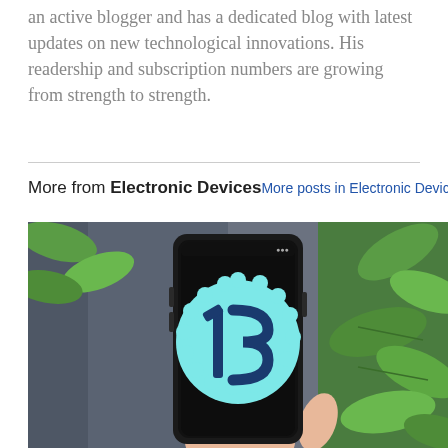an active blogger and has a dedicated blog with latest updates on new technological innovations. His readership and subscription numbers are growing from strength to strength.
More from Electronic Devices   More posts in Electronic Devices »
[Figure (photo): A hand holding a smartphone with the Android 13 logo displayed on its screen, surrounded by green tropical leaves in the background.]